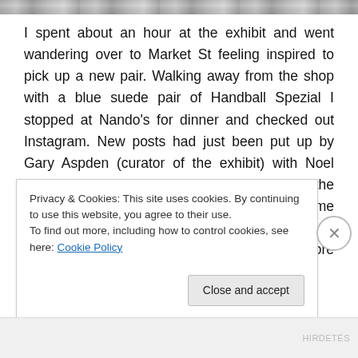[Figure (photo): Partial cropped photo strip at top of page showing indistinct colorful image]
I spent about an hour at the exhibit and went wandering over to Market St feeling inspired to pick up a new pair. Walking away from the shop with a blue suede pair of Handball Spezial I stopped at Nando’s for dinner and checked out Instagram. New posts had just been put up by Gary Aspden (curator of the exhibit) with Noel Gallagher and Mani from the Stone Roses at the exhibit just a few minutes after I left!! I left some comment on the picture asking if they had watched and waited for me to leave before visiting that night. After I finished my tast…
Privacy & Cookies: This site uses cookies. By continuing to use this website, you agree to their use.
To find out more, including how to control cookies, see here: Cookie Policy
Close and accept